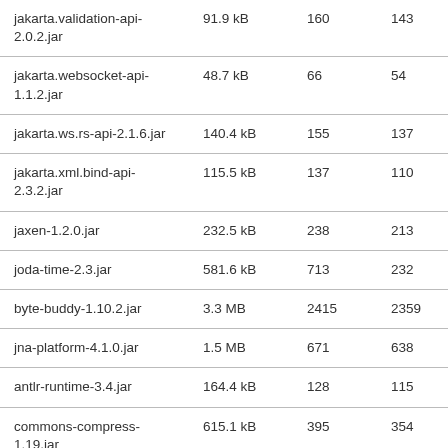| jakarta.validation-api-2.0.2.jar | 91.9 kB | 160 | 143 | 9 |
| jakarta.websocket-api-1.1.2.jar | 48.7 kB | 66 | 54 | 2 |
| jakarta.ws.rs-api-2.1.6.jar | 140.4 kB | 155 | 137 | 6 |
| jakarta.xml.bind-api-2.3.2.jar | 115.5 kB | 137 | 110 | 6 |
| jaxen-1.2.0.jar | 232.5 kB | 238 | 213 | 16 |
| joda-time-2.3.jar | 581.6 kB | 713 | 232 | 7 |
| byte-buddy-1.10.2.jar | 3.3 MB | 2415 | 2359 | 36 |
| jna-platform-4.1.0.jar | 1.5 MB | 671 | 638 | 9 |
| antlr-runtime-3.4.jar | 164.4 kB | 128 | 115 | 4 |
| commons-compress-1.19.jar | 615.1 kB | 395 | 354 | 29 |